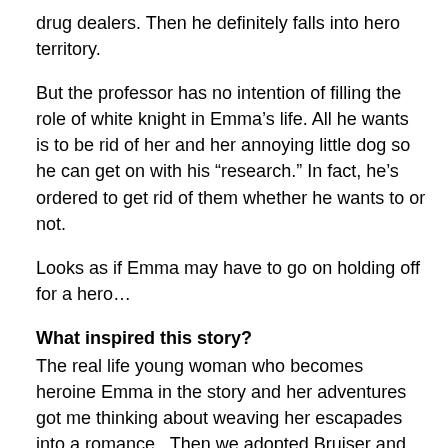drug dealers. Then he definitely falls into hero territory.
But the professor has no intention of filling the role of white knight in Emma’s life. All he wants is to be rid of her and her annoying little dog so he can get on with his “research.” In fact, he’s ordered to get rid of them whether he wants to or not.
Looks as if Emma may have to go on holding off for a hero…
What inspired this story?
The real life young woman who becomes heroine Emma in the story and her adventures got me thinking about weaving her escapades into a romance.  Then we adopted Bruiser and inspiration was piled on inspiration.  What else could I do?  I had to write their story.